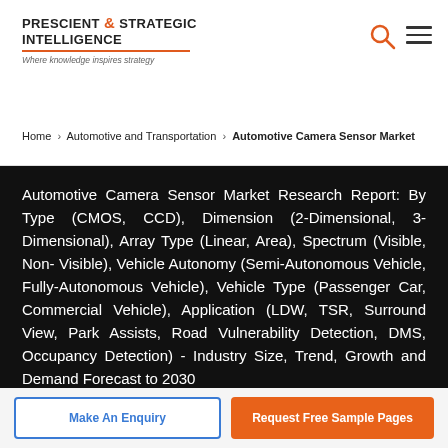[Figure (logo): Prescient & Strategic Intelligence logo with tagline 'Where knowledge inspires strategy']
Home › Automotive and Transportation › Automotive Camera Sensor Market
Automotive Camera Sensor Market Research Report: By Type (CMOS, CCD), Dimension (2-Dimensional, 3-Dimensional), Array Type (Linear, Area), Spectrum (Visible, Non- Visible), Vehicle Autonomy (Semi-Autonomous Vehicle, Fully-Autonomous Vehicle), Vehicle Type (Passenger Car, Commercial Vehicle), Application (LDW, TSR, Surround View, Park Assists, Road Vulnerability Detection, DMS, Occupancy Detection) - Industry Size, Trend, Growth and Demand Forecast to 2030
Make An Enquiry
Request Free Sample Pages